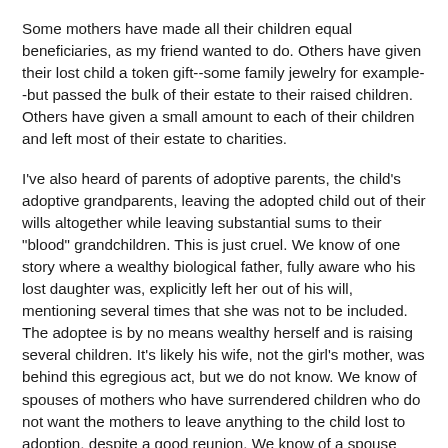Some mothers have made all their children equal beneficiaries, as my friend wanted to do. Others have given their lost child a token gift--some family jewelry for example--but passed the bulk of their estate to their raised children. Others have given a small amount to each of their children and left most of their estate to charities.
I've also heard of parents of adoptive parents, the child's adoptive grandparents, leaving the adopted child out of their wills altogether while leaving substantial sums to their "blood" grandchildren. This is just cruel. We know of one story where a wealthy biological father, fully aware who his lost daughter was, explicitly left her out of his will, mentioning several times that she was not to be included. The adoptee is by no means wealthy herself and is raising several children. It's likely his wife, not the girl's mother, was behind this egregious act, but we do not know. We know of spouses of mothers who have surrendered children who do not want the mothers to leave anything to the child lost to adoption, despite a good reunion. We know of a spouse who did not want a recently reunited son of her husband's to be made known to her husband's father, for that would make her son